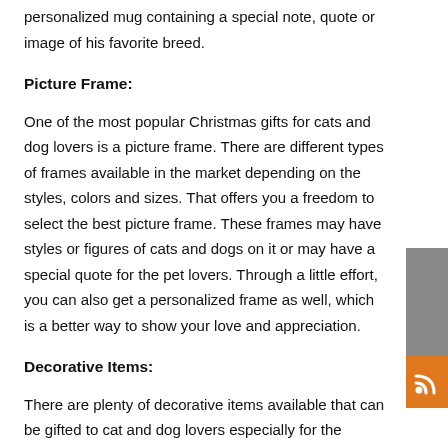personalized mug containing a special note, quote or image of his favorite breed.
Picture Frame:
One of the most popular Christmas gifts for cats and dog lovers is a picture frame. There are different types of frames available in the market depending on the styles, colors and sizes. That offers you a freedom to select the best picture frame. These frames may have styles or figures of cats and dogs on it or may have a special quote for the pet lovers. Through a little effort, you can also get a personalized frame as well, which is a better way to show your love and appreciation.
Decorative Items:
There are plenty of decorative items available that can be gifted to cat and dog lovers especially for the joyous occasion of Christmas. These decorative items can be hanged with Christmas trees, your pet's house or anywhere you would like.